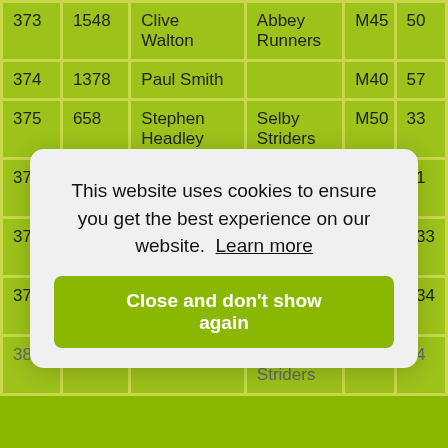|  |  |  |  |  |  |
| --- | --- | --- | --- | --- | --- |
| 373 | 1548 | Clive Walton | Abbey Runners | M45 | 50 |
| 374 | 1378 | Paul Smith |  | M40 | 57 |
| 375 | 658 | Stephen Headley | Selby Striders | M50 | 33 |
| 376 | 615 | Mike Hannan |  | M45 | 51 |
| 377 | 1256 | Michael Richardson |  | MSEN | 133 |
| 378 | 6 | Richard Adams |  | MSEN | 134 |
| 381 | 1043 | Gemma | Valley Striders | FSEN | 54 |
This website uses cookies to ensure you get the best experience on our website. Learn more
Close and don't show again